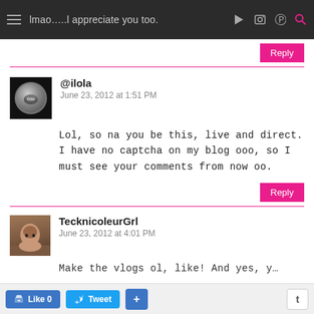lmao…..l appreciate you too.
Reply
@ilola
June 23, 2012 at 1:51 PM
Lol, so na you be this, live and direct. I have no captcha on my blog ooo, so I must see your comments from now oo.
Reply
TecknicoleurGrl
June 23, 2012 at 4:01 PM
Make the vlogs ol, like! And yes, y…